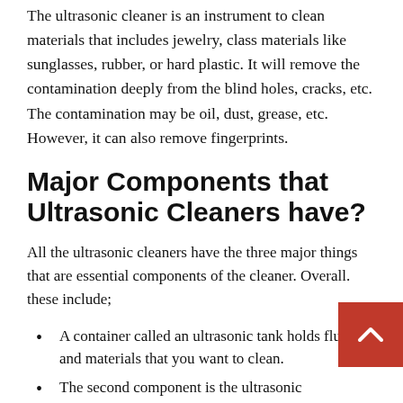The ultrasonic cleaner is an instrument to clean materials that includes jewelry, class materials like sunglasses, rubber, or hard plastic. It will remove the contamination deeply from the blind holes, cracks, etc. The contamination may be oil, dust, grease, etc. However, it can also remove fingerprints.
Major Components that Ultrasonic Cleaners have?
All the ultrasonic cleaners have the three major things that are essential components of the cleaner. Overall. these include;
A container called an ultrasonic tank holds fluid and materials that you want to clean.
The second component is the ultrasonic…